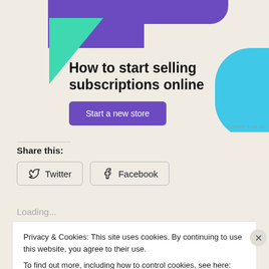[Figure (illustration): Advertisement banner with purple, green triangle and blue shapes. Title: 'How to start selling subscriptions online' with a purple 'Start a new store' button. 'REPORT THIS AD' text at bottom right.]
Share this:
Twitter
Facebook
Loading...
Privacy & Cookies: This site uses cookies. By continuing to use this website, you agree to their use. To find out more, including how to control cookies, see here: Cookie Policy